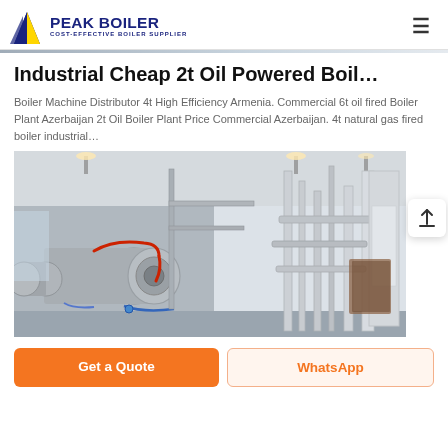PEAK BOILER — COST-EFFECTIVE BOILER SUPPLIER
Industrial Cheap 2t Oil Powered Boil…
Boiler Machine Distributor 4t High Efficiency Armenia. Commercial 6t oil fired Boiler Plant Azerbaijan 2t Oil Boiler Plant Price Commercial Azerbaijan. 4t natural gas fired boiler industrial…
[Figure (photo): Industrial boiler installation inside a facility showing a large cylindrical horizontal boiler tank and piping systems]
Get a Quote | WhatsApp